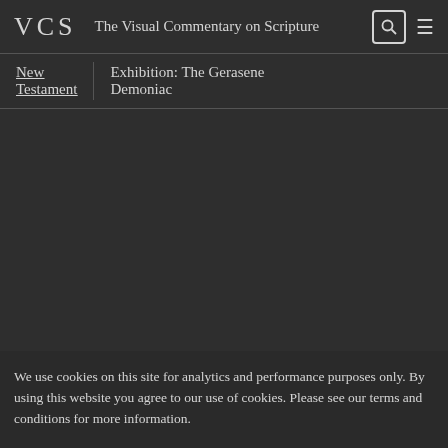VCS The Visual Commentary on Scripture
New Testament | Exhibition: The Gerasene Demoniac
We use cookies on this site for analytics and performance purposes only. By using this website you agree to our use of cookies. Please see our terms and conditions for more information.